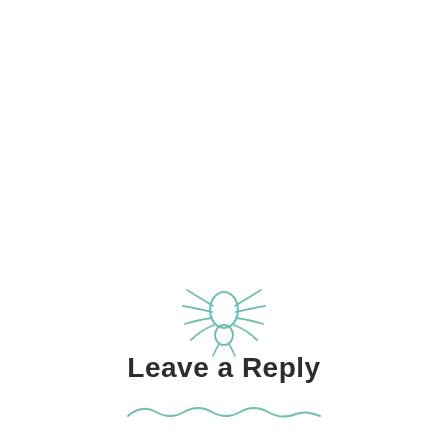[Figure (illustration): A small spider icon drawn in teal/green outline style, centered on the page]
Leave a Reply
[Figure (illustration): A teal wavy decorative line beneath the heading]